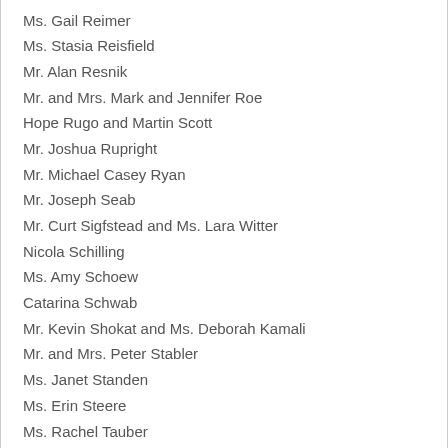Ms. Gail Reimer
Ms. Stasia Reisfield
Mr. Alan Resnik
Mr. and Mrs. Mark and Jennifer Roe
Hope Rugo and Martin Scott
Mr. Joshua Rupright
Mr. Michael Casey Ryan
Mr. Joseph Seab
Mr. Curt Sigfstead and Ms. Lara Witter
Nicola Schilling
Ms. Amy Schoew
Catarina Schwab
Mr. Kevin Shokat and Ms. Deborah Kamali
Mr. and Mrs. Peter Stabler
Ms. Janet Standen
Ms. Erin Steere
Ms. Rachel Tauber
Ms. Olive Thaler
Toy Boat Dessert Cafe
Mr. and Mrs. Brian and Darcy Tsung
William Duff Architects